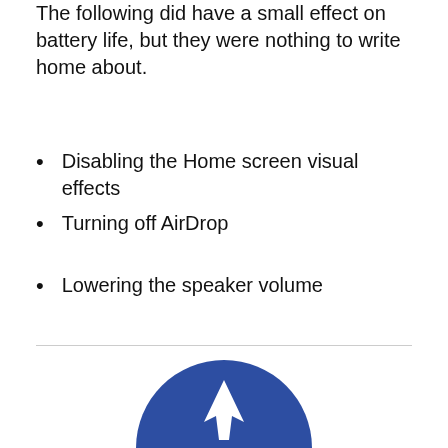The following did have a small effect on battery life, but they were nothing to write home about.
Disabling the Home screen visual effects
Turning off AirDrop
Lowering the speaker volume
[Figure (logo): Partial blue circular logo/icon visible at the bottom of the page, showing the top arc of a rounded shape with a white cursor/arrow in the center]